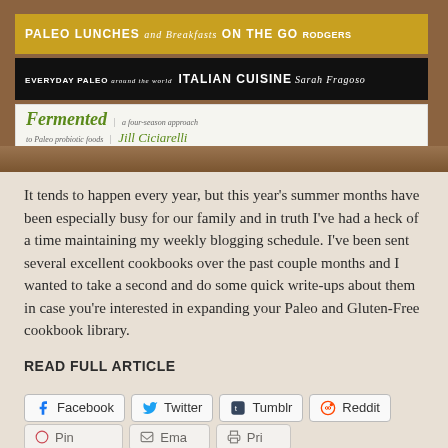[Figure (photo): Stack of paleo and gluten-free cookbook spines on a wooden surface: 'Paleo Lunches and Breakfasts On The Go' by Rodgers, 'Everyday Paleo Around the World Italian Cuisine' by Sarah Fragoso, and 'Fermented: a four-season approach to Paleo probiotic foods' by Jill Ciciarelli]
It tends to happen every year, but this year's summer months have been especially busy for our family and in truth I've had a heck of a time maintaining my weekly blogging schedule. I've been sent several excellent cookbooks over the past couple months and I wanted to take a second and do some quick write-ups about them in case you're interested in expanding your Paleo and Gluten-Free cookbook library.
READ FULL ARTICLE
Facebook
Twitter
Tumblr
Reddit
Pinterest
Email
Print